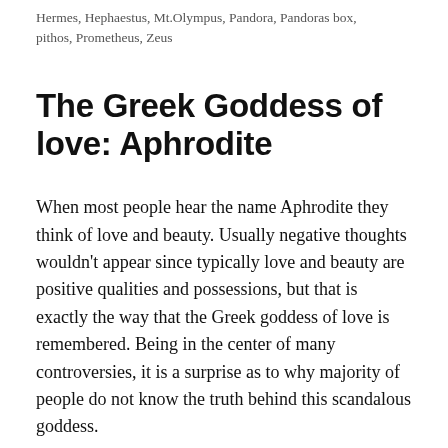Hermes, Hephaestus, Mt.Olympus, Pandora, Pandoras box, pithos, Prometheus, Zeus
The Greek Goddess of love: Aphrodite
When most people hear the name Aphrodite they think of love and beauty. Usually negative thoughts wouldn’t appear since typically love and beauty are positive qualities and possessions, but that is exactly the way that the Greek goddess of love is remembered. Being in the center of many controversies, it is a surprise as to why majority of people do not know the truth behind this scandalous goddess.